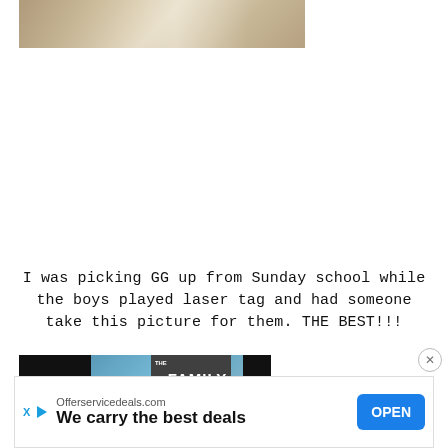[Figure (photo): Partial photo showing the top portion of an image — appears to be people or objects on a table, cropped at bottom with warm/beige tones]
I was picking GG up from Sunday school while the boys played laser tag and had someone take this picture for them.  THE BEST!!!
[Figure (photo): Bottom strip of a movie poster or image showing 'THE FAMILY' text with dark and blue-toned sections]
Offerservicedeals.com
We carry the best deals
OPEN